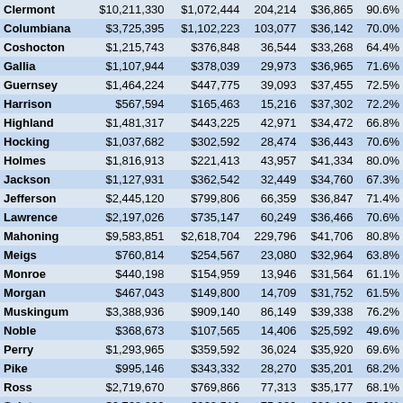| County | Col1 | Col2 | Col3 | Col4 | Col5 |
| --- | --- | --- | --- | --- | --- |
| Clermont | $10,211,330 | $1,072,444 | 204,214 | $36,865 | 90.6% |
| Columbiana | $3,725,395 | $1,102,223 | 103,077 | $36,142 | 70.0% |
| Coshocton | $1,215,743 | $376,848 | 36,544 | $33,268 | 64.4% |
| Gallia | $1,107,944 | $378,039 | 29,973 | $36,965 | 71.6% |
| Guernsey | $1,464,224 | $447,775 | 39,093 | $37,455 | 72.5% |
| Harrison | $567,594 | $165,463 | 15,216 | $37,302 | 72.2% |
| Highland | $1,481,317 | $443,225 | 42,971 | $34,472 | 66.8% |
| Hocking | $1,037,682 | $302,592 | 28,474 | $36,443 | 70.6% |
| Holmes | $1,816,913 | $221,413 | 43,957 | $41,334 | 80.0% |
| Jackson | $1,127,931 | $362,542 | 32,449 | $34,760 | 67.3% |
| Jefferson | $2,445,120 | $799,806 | 66,359 | $36,847 | 71.4% |
| Lawrence | $2,197,026 | $735,147 | 60,249 | $36,466 | 70.6% |
| Mahoning | $9,583,851 | $2,618,704 | 229,796 | $41,706 | 80.8% |
| Meigs | $760,814 | $254,567 | 23,080 | $32,964 | 63.8% |
| Monroe | $440,198 | $154,959 | 13,946 | $31,564 | 61.1% |
| Morgan | $467,043 | $149,800 | 14,709 | $31,752 | 61.5% |
| Muskingum | $3,388,936 | $909,140 | 86,149 | $39,338 | 76.2% |
| Noble | $368,673 | $107,565 | 14,406 | $25,592 | 49.6% |
| Perry | $1,293,965 | $359,592 | 36,024 | $35,920 | 69.6% |
| Pike | $995,146 | $343,332 | 28,270 | $35,201 | 68.2% |
| Ross | $2,719,670 | $769,866 | 77,313 | $35,177 | 68.1% |
| Scioto | $2,768,826 | $968,516 | 75,929 | $36,466 | 70.6% |
| Trumbull | $7,969,263 | $2,255,678 | 200,380 | $39,771 | 77.0% |